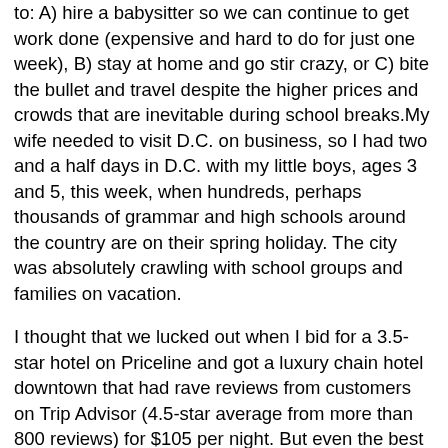to: A) hire a babysitter so we can continue to get work done (expensive and hard to do for just one week), B) stay at home and go stir crazy, or C) bite the bullet and travel despite the higher prices and crowds that are inevitable during school breaks.My wife needed to visit D.C. on business, so I had two and a half days in D.C. with my little boys, ages 3 and 5, this week, when hundreds, perhaps thousands of grammar and high schools around the country are on their spring holiday. The city was absolutely crawling with school groups and families on vacation.
I thought that we lucked out when I bid for a 3.5-star hotel on Priceline and got a luxury chain hotel downtown that had rave reviews from customers on Trip Advisor (4.5-star average from more than 800 reviews) for $105 per night. But even the best hotels fall apart when they are jam-packed and this place was a circus. If you didn't shower by 7 a.m., there was no hot water. Wi-Fi, which cost $9.99 per day, was ridiculously slow, no doubt due to the volume of traffic. And the breakfast lines were unlike anything I've experienced at any hotel in my